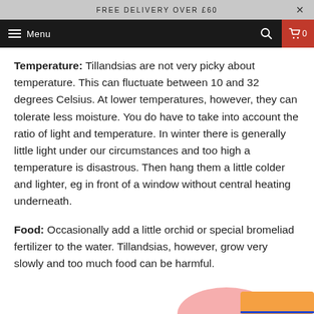FREE DELIVERY OVER £60
Menu
Temperature: Tillandsias are not very picky about temperature. This can fluctuate between 10 and 32 degrees Celsius. At lower temperatures, however, they can tolerate less moisture. You do have to take into account the ratio of light and temperature. In winter there is generally little light under our circumstances and too high a temperature is disastrous. Then hang them a little colder and lighter, eg in front of a window without central heating underneath.
Food: Occasionally add a little orchid or special bromeliad fertilizer to the water. Tillandsias, however, grow very slowly and too much food can be harmful.